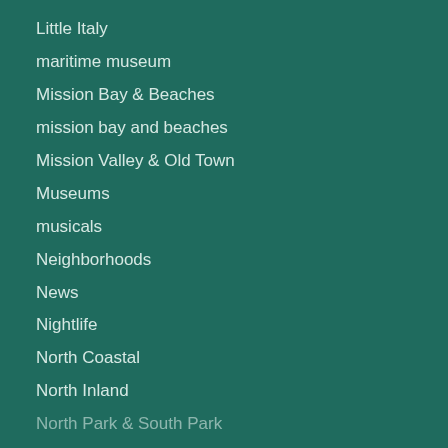Little Italy
maritime museum
Mission Bay & Beaches
mission bay and beaches
Mission Valley & Old Town
Museums
musicals
Neighborhoods
News
Nightlife
North Coastal
North Inland
North Park & South Park